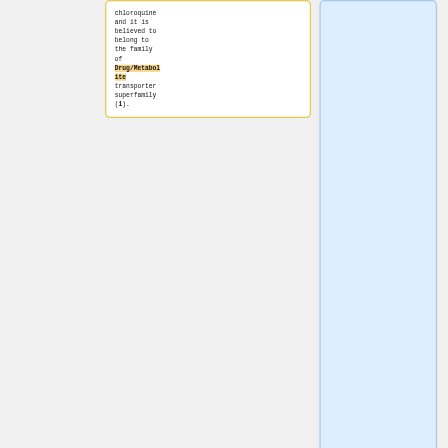chloroquine and it is believed to belong to the family of Drug/Metabolite transporter superfamily (1).
Chloroquine action is directly linked to the food vacuole, which is an